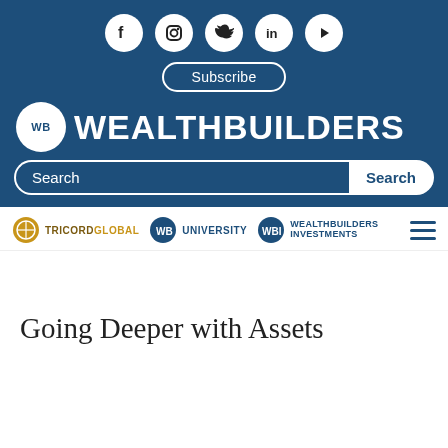[Figure (logo): WealthBuilders website header with social media icons (Facebook, Instagram, Twitter, LinkedIn, YouTube), Subscribe button, WB WealthBuilders logo, search bar, and navigation bar with TricordGlobal, WB University, WBI WealthBuilders Investments logos and hamburger menu]
Going Deeper with Assets